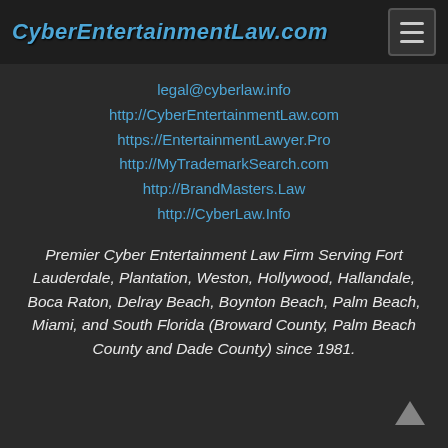CyberEntertainmentLaw.com
legal@cyberlaw.info
http://CyberEntertainmentLaw.com
https://EntertainmentLawyer.Pro
http://MyTrademarkSearch.com
http://BrandMasters.Law
http://CyberLaw.Info
Premier Cyber Entertainment Law Firm Serving Fort Lauderdale, Plantation, Weston, Hollywood, Hallandale, Boca Raton, Delray Beach, Boynton Beach, Palm Beach, Miami, and South Florida (Broward County, Palm Beach County and Dade County) since 1981.